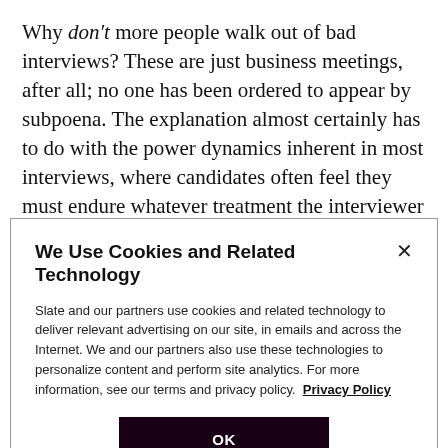Why don't more people walk out of bad interviews? These are just business meetings, after all; no one has been ordered to appear by subpoena. The explanation almost certainly has to do with the power dynamics inherent in most interviews, where candidates often feel they must endure whatever treatment the interviewer doles out, no matter how rude. Some of that is understandable: The interviewer has something the
We Use Cookies and Related Technology
Slate and our partners use cookies and related technology to deliver relevant advertising on our site, in emails and across the Internet. We and our partners also use these technologies to personalize content and perform site analytics. For more information, see our terms and privacy policy. Privacy Policy
OK